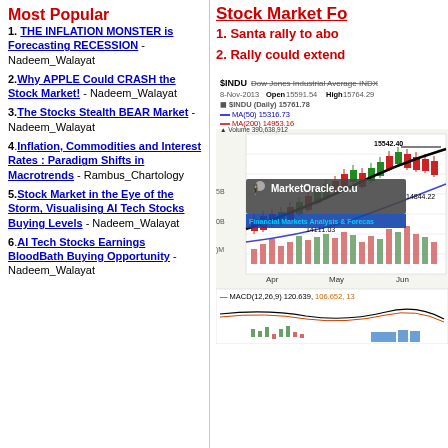Most Popular
1. THE INFLATION MONSTER is Forecasting RECESSION - Nadeem_Walayat
2. Why APPLE Could CRASH the Stock Market! - Nadeem_Walayat
3. The Stocks Stealth BEAR Market - Nadeem_Walayat
4. Inflation, Commodities and Interest Rates : Paradigm Shifts in Macrotrends - Rambus_Chartology
5. Stock Market in the Eye of the Storm, Visualising AI Tech Stocks Buying Levels - Nadeem_Walayat
6. AI Tech Stocks Earnings BloodBath Buying Opportunity - Nadeem_Walayat
Stock Market Fo...
1. Santa rally to abo...
2. Rally could extend...
[Figure (continuous-plot): SINDU Dow Jones Industrial Average INDX stock chart showing candlestick price data from Apr to Jun, with MA(50) and MA(200) lines, volume bars, MarketOracle.co.uk watermark, price labels 15542.40, 14887.51, 14844.22, 14111.03, and MACD(12,26,9) 120.639, 106.652 indicator at bottom. Date shown: 8-Nov-2013, Open 15591.54, High 15764.29, current 15761.78, MA(50) 15316.73, MA(200) 14953.16, Volume 390,638,912]